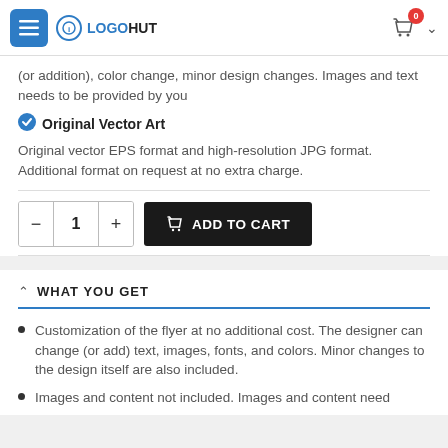LOGOHUT
(or addition), color change, minor design changes. Images and text needs to be provided by you
Original Vector Art
Original vector EPS format and high-resolution JPG format. Additional format on request at no extra charge.
ADD TO CART (quantity: 1)
WHAT YOU GET
Customization of the flyer at no additional cost. The designer can change (or add) text, images, fonts, and colors. Minor changes to the design itself are also included.
Images and content not included. Images and content need